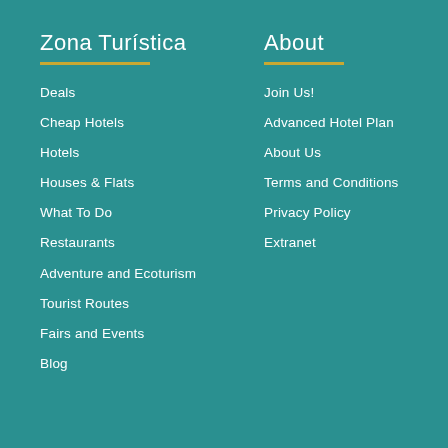Zona Turística
Deals
Cheap Hotels
Hotels
Houses & Flats
What To Do
Restaurants
Adventure and Ecoturism
Tourist Routes
Fairs and Events
Blog
About
Join Us!
Advanced Hotel Plan
About Us
Terms and Conditions
Privacy Policy
Extranet